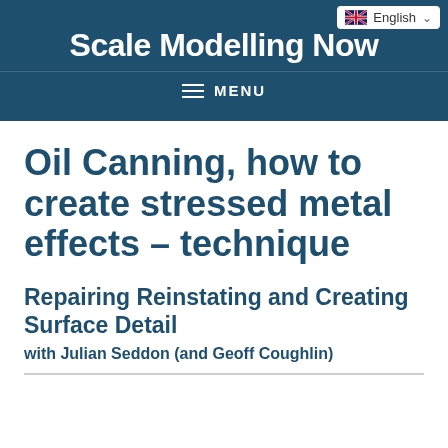Scale Modelling Now
Oil Canning, how to create stressed metal effects – technique
Repairing Reinstating and Creating Surface Detail
with Julian Seddon (and Geoff Coughlin)